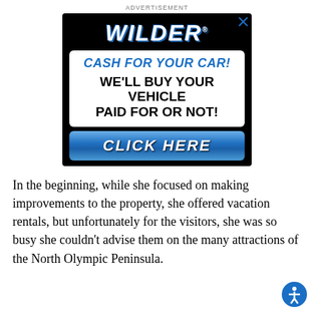ADVERTISEMENT
[Figure (other): Wilder auto dealership advertisement. Black background with white italic bold 'WILDER' heading. White box inside containing blue bold italic 'CASH FOR YOUR CAR!' and black bold 'WE'LL BUY YOUR VEHICLE PAID FOR OR NOT!' text. Blue gradient button at bottom reading 'CLICK HERE' in white italic bold.]
In the beginning, while she focused on making improvements to the property, she offered vacation rentals, but unfortunately for the visitors, she was so busy she couldn't advise them on the many attractions of the North Olympic Peninsula.